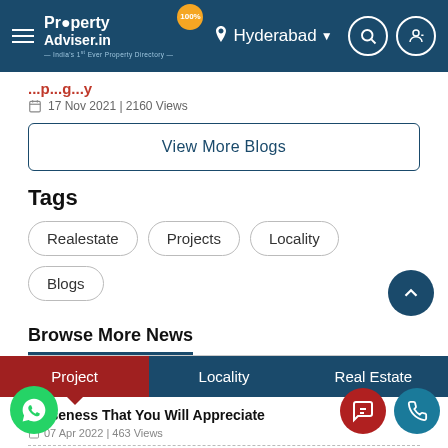PropertyAdviser.in — India's 1st Ever Property Directory | Hyderabad
17 Nov 2021 | 2160 Views
View More Blogs
Tags
Realestate
Projects
Locality
Blogs
Browse More News
Project | Locality | Real Estate
Closeness That You Will Appreciate
07 Apr 2022 | 463 Views
Luxury With A View At Hallmark Treasor
Apr 2022 | 467 Views
Verdant Surrounding With Beautiful Water Bodies Makes It An